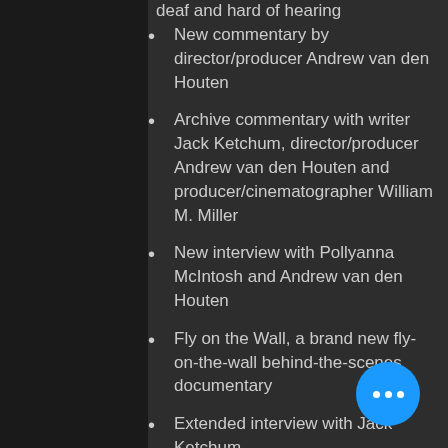deaf and hard of hearing
New commentary by director/producer Andrew van den Houten
Archive commentary with writer Jack Ketchum, director/producer Andrew van den Houten and producer/cinematographer William M. Miller
New interview with Pollyanna McIntosh and Andrew van den Houten
Fly on the Wall, a brand new fly-on-the-wall behind-the-scenes documentary
Extended interview with Jack Ketchum